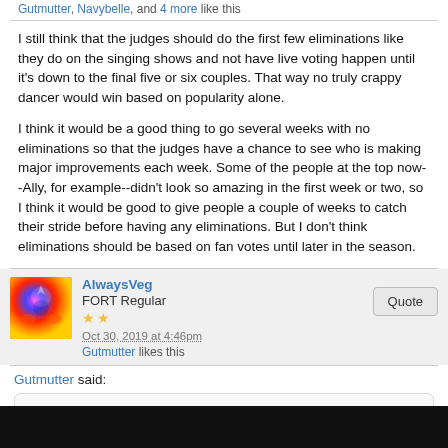Gutmutter, Navybelle, and 4 more like this
I still think that the judges should do the first few eliminations like they do on the singing shows and not have live voting happen until it's down to the final five or six couples. That way no truly crappy dancer would win based on popularity alone.
I think it would be a good thing to go several weeks with no eliminations so that the judges have a chance to see who is making major improvements each week. Some of the people at the top now--Ally, for example--didn't look so amazing in the first week or two, so I think it would be good to give people a couple of weeks to catch their stride before having any eliminations. But I don't think eliminations should be based on fan votes until later in the season.
AlwaysVeg
FORT Regular
Oct 30, 2019 at 4:46pm
Gutmutter likes this
Gutmutter said:
It sullies the whole show to have someone as bad as him move forward over others. I'll read here and watch YouTube for specific dances if this continues. I won't watch the show. And you can bet I'll